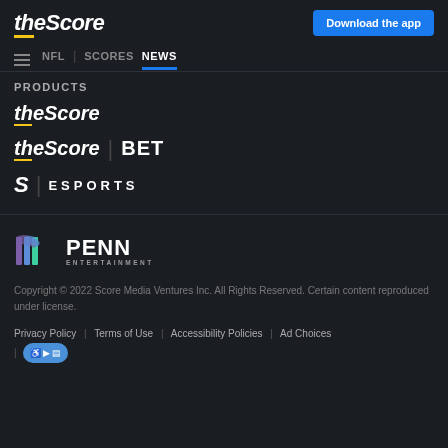[Figure (logo): theScore logo with yellow underline accent]
Download the app
NFL | SCORES NEWS
PRODUCTS
[Figure (logo): theScore product logo]
[Figure (logo): theScore | BET product logo]
[Figure (logo): S | ESPORTS logo]
[Figure (logo): PENN ENTERTAINMENT logo with colored icon]
Copyright © 2022 Score Media Ventures Inc. All Rights Reserved. Certain content reproduced under license.
Privacy Policy | Terms of Use | Accessibility Policies | Ad Choices